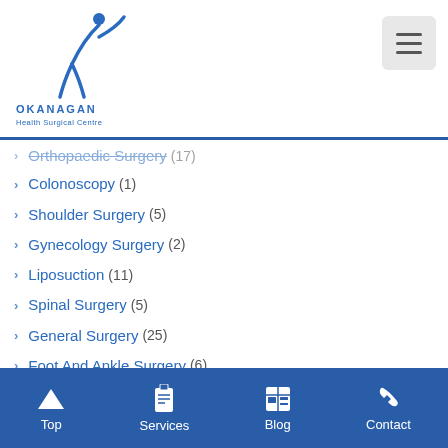Okanagan Health Surgical Centre
Orthopaedic Surgery (17)
Colonoscopy (1)
Shoulder Surgery (5)
Gynecology Surgery (2)
Liposuction (11)
Spinal Surgery (5)
General Surgery (25)
Foot And Ankle Surgery (6)
Facelift (13)
Nasal Surgery (2)
Vasectomy (3)
Urology Surgery (1)
Top | Services | Blog | Contact